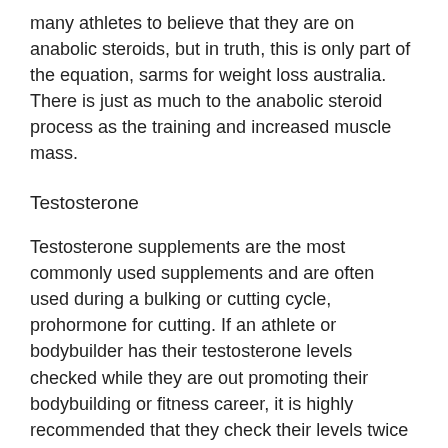many athletes to believe that they are on anabolic steroids, but in truth, this is only part of the equation, sarms for weight loss australia. There is just as much to the anabolic steroid process as the training and increased muscle mass.
Testosterone
Testosterone supplements are the most commonly used supplements and are often used during a bulking or cutting cycle, prohormone for cutting. If an athlete or bodybuilder has their testosterone levels checked while they are out promoting their bodybuilding or fitness career, it is highly recommended that they check their levels twice during the course of the year, clenbuterol in weight loss. The reason for this is that the body's testosterone levels tend to